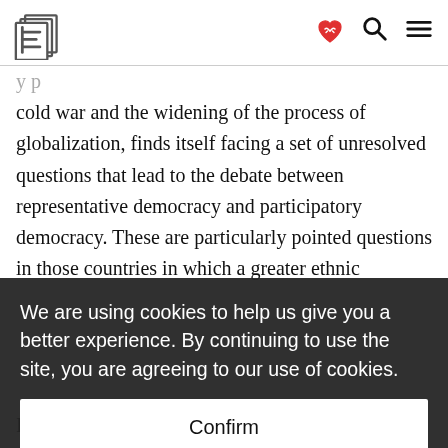[Logo: E] [heart icon] [search icon] [menu icon]
cold war and the widening of the process of globalization, finds itself facing a set of unresolved questions that lead to the debate between representative democracy and participatory democracy. These are particularly pointed questions in those countries in which a greater ethnic diversity exists; among those groups that find it more difficult to have their
We are using cookies to help us give you a better experience. By continuing to use the site, you are agreeing to our use of cookies.
Confirm
In the following section, we will seek to recover